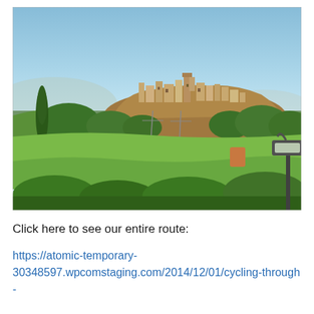[Figure (photo): Landscape photo showing a hilltop medieval town (likely in southern France or Catalonia) with golden stone buildings crowning a hill, surrounded by green fields, trees including a tall cypress on the left, and a street lamp on the lower right. Clear blue sky in the background.]
Click here to see our entire route:
https://atomic-temporary-30348597.wpcomstaging.com/2014/12/01/cycling-through-